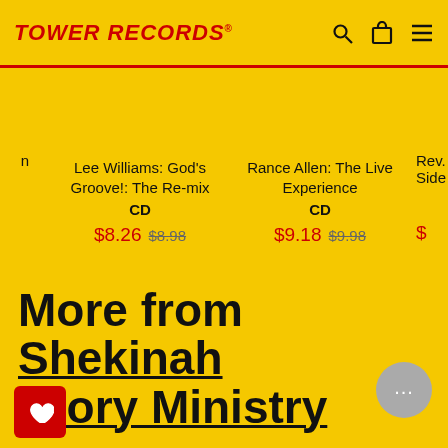TOWER RECORDS
Lee Williams: God's Groove!: The Re-mix CD $8.26 $8.98
Rance Allen: The Live Experience CD $9.18 $9.98
Rev. [partial] Side [partial] $[partial]
More from Shekinah Glory Ministry